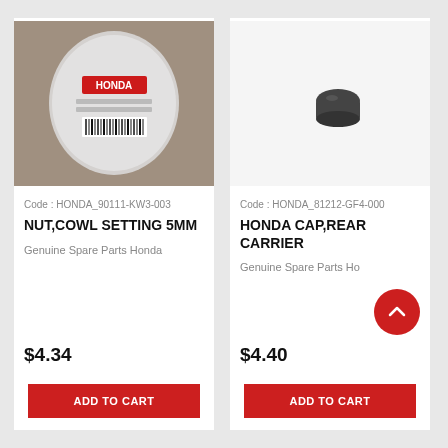[Figure (photo): Honda branded nut in plastic packaging with barcode, placed on brown surface]
Code : HONDA_90111-KW3-003
NUT,COWL SETTING 5MM
Genuine Spare Parts Honda
$4.34
[Figure (photo): Small dark rubber cap/plug on white background]
Code : HONDA_81212-GF4-000
HONDA CAP,REAR CARRIER
Genuine Spare Parts Honda
$4.40